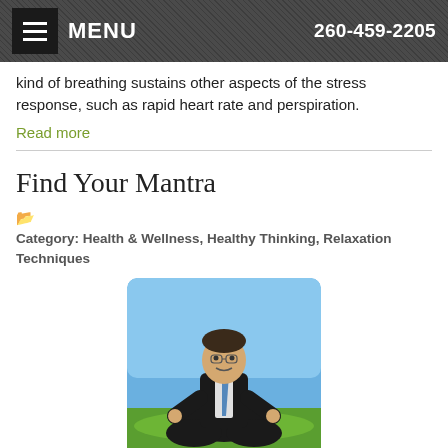MENU  260-459-2205
kind of breathing sustains other aspects of the stress response, such as rapid heart rate and perspiration.
Read more
Find Your Mantra
Category: Health & Wellness, Healthy Thinking, Relaxation Techniques
[Figure (photo): A man in a business suit sitting cross-legged in a meditation pose on green grass with a blue sky background, hands resting on knees in a mudra gesture.]
To find your mantra you can go to a peaceful place, sit in a comfortable position, and focus on a word or